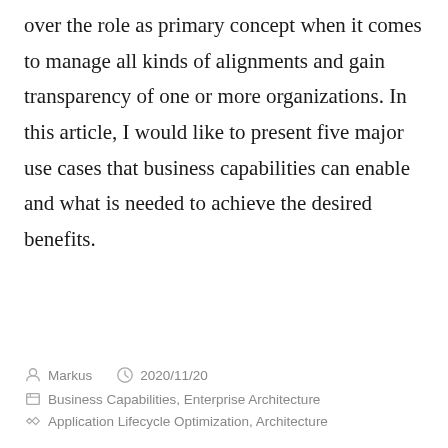over the role as primary concept when it comes to manage all kinds of alignments and gain transparency of one or more organizations. In this article, I would like to present five major use cases that business capabilities can enable and what is needed to achieve the desired benefits.
Markus  2020/11/20  Business Capabilities, Enterprise Architecture  Application Lifecycle Optimization, Architecture